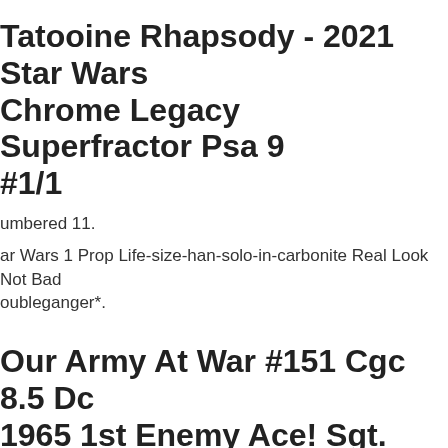Tatooine Rhapsody - 2021 Star Wars Chrome Legacy Superfractor Psa 9 #1/1
numbered 11.
ar Wars 1 Prop Life-size-han-solo-in-carbonite Real Look Not Bad doubleganger*.
Our Army At War #151 Cgc 8.5 Dc 1965 1st Enemy Ace! Sgt. Rock Cover M9 202 Cm
t. Rock Cover! Take A Look At The Large Scan Below (see The entering). Book Is Now Over 50 Years Old!